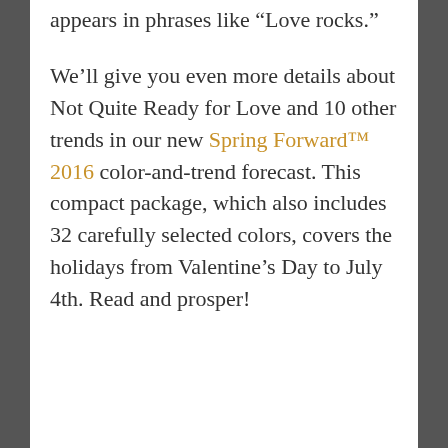appears in phrases like “Love rocks.”
We’ll give you even more details about Not Quite Ready for Love and 10 other trends in our new Spring Forward™ 2016 color-and-trend forecast. This compact package, which also includes 32 carefully selected colors, covers the holidays from Valentine’s Day to July 4th. Read and prosper!